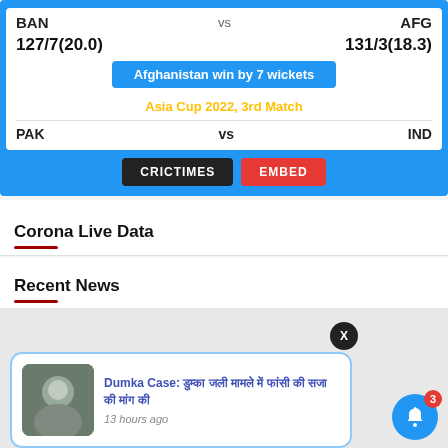[Figure (screenshot): Cricket scorecard widget showing BAN vs AFG match: BAN 127/7(20.0), AFG 131/3(18.3), Afghanistan win by 7 wickets, Asia Cup 2022 3rd Match. Below shows PAK vs IND match. Buttons: CRICTIMES and EMBED.]
Corona Live Data
Recent News
[Figure (screenshot): Notification popup with image and Hindi text 'Dumka Case: ...' with time '13 hours ago'. Bell icon with badge '3'. WhatsApp button in bottom left.]